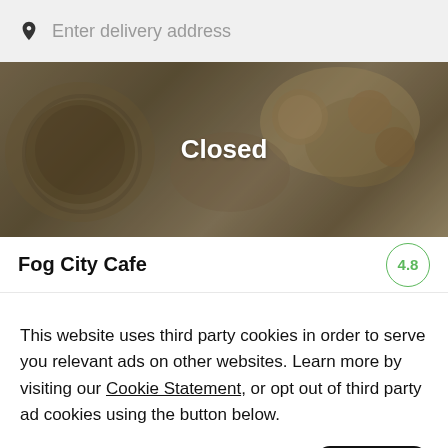Enter delivery address
[Figure (photo): Overhead food photo showing baked goods and pastries on plates, dimmed with a 'Closed' label overlaid in white text.]
Fog City Cafe  4.8
This website uses third party cookies in order to serve you relevant ads on other websites. Learn more by visiting our Cookie Statement, or opt out of third party ad cookies using the button below.
Opt out
Got it